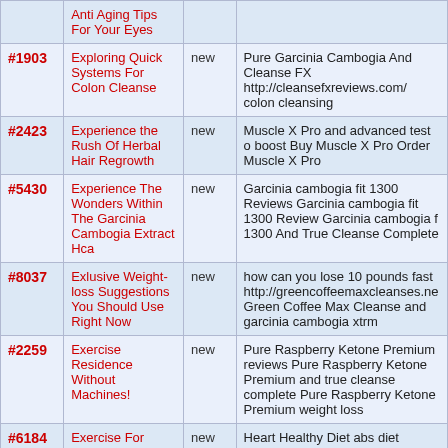| # | Title | Status | Description |
| --- | --- | --- | --- |
|  | Anti Aging Tips For Your Eyes |  |  |
| #1903 | Exploring Quick Systems For Colon Cleanse | new | Pure Garcinia Cambogia And Cleanse FX http://cleansefxreviews.com/ colon cleansing |
| #2423 | Experience the Rush Of Herbal Hair Regrowth | new | Muscle X Pro and advanced test o boost Buy Muscle X Pro Order Muscle X Pro |
| #5430 | Experience The Wonders Within The Garcinia Cambogia Extract Hca | new | Garcinia cambogia fit 1300 Reviews Garcinia cambogia fit 1300 Review Garcinia cambogia fit 1300 And True Cleanse Complete |
| #8037 | Exlusive Weight-loss Suggestions You Should Use Right Now | new | how can you lose 10 pounds fast http://greencoffeemaxcleanses.ne Green Coffee Max Cleanse and garcinia cambogia xtrm |
| #2259 | Exercise Residence Without Machines! | new | Pure Raspberry Ketone Premium reviews Pure Raspberry Ketone Premium and true cleanse complete Pure Raspberry Ketone Premium weight loss |
| #6184 | Exercise For Losing Weight To Get Fit | new | Heart Healthy Diet abs diet Natures Pure cleanse and garcinia cambogia max slim |
| #500 | Exercise And Dieting Strategies For Weight Loss | new | natural cleanse review Natural cleanse and carcinia cambogia xt Natural cleanse and carcinia |